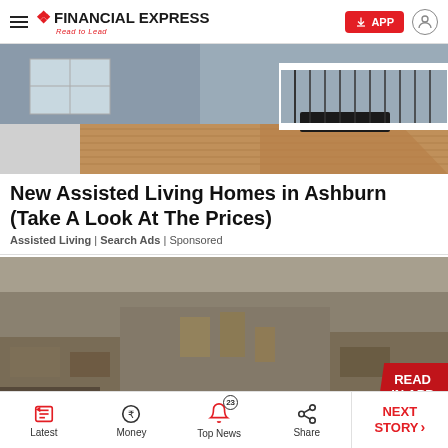FINANCIAL EXPRESS — Read to Lead
[Figure (photo): Exterior of a house with wooden deck, ramp, and white railing]
New Assisted Living Homes in Ashburn (Take A Look At The Prices)
Assisted Living | Search Ads | Sponsored
[Figure (photo): Blurred interior of a furniture store or warehouse with rows of furniture and boxes]
Latest | Money | Top News (23) | Share | NEXT STORY